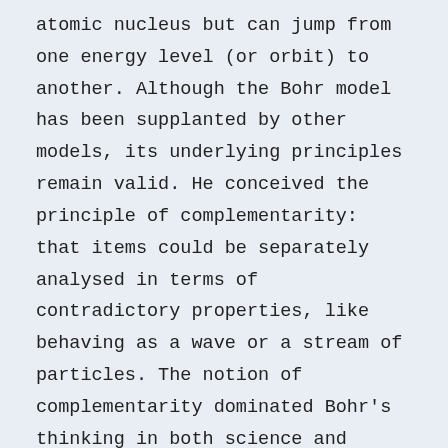atomic nucleus but can jump from one energy level (or orbit) to another. Although the Bohr model has been supplanted by other models, its underlying principles remain valid. He conceived the principle of complementarity: that items could be separately analysed in terms of contradictory properties, like behaving as a wave or a stream of particles. The notion of complementarity dominated Bohr's thinking in both science and philosophy. Bohr founded the Institute of Theoretical Physics at the University of Copenhagen, now known as the Niels Bohr Institute, which opened in 1920. Bohr mentored and collaborated with physicists including Hans Kramers, Oskar Klein, George de Hevesy, and Werner Heisenberg. He predicted the existence of a new zirconium-like element, which was named hafnium, after the Latin name for Copenhagen, where it was discovered. Later, the element bohrium was named after him. During